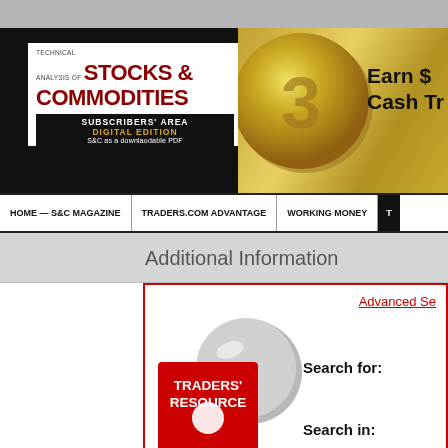[Figure (logo): Technical Analysis of Stocks & Commodities magazine logo with Subscribers' Area Digital Edition banner]
[Figure (illustration): Gold coin banner with 'Earn $ Cash Tr...' text]
HOME — S&C MAGAZINE | TRADERS.COM ADVANTAGE | WORKING MONEY | T...
Additional Information
Advanced Se...
[Figure (logo): Traders' Resource logo with magnifying glass]
Search for:
Search in: